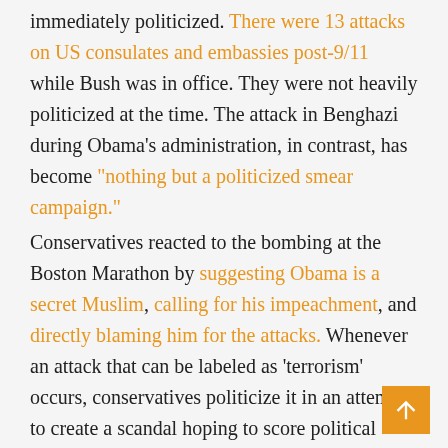immediately politicized. There were 13 attacks on US consulates and embassies post-9/11 while Bush was in office. They were not heavily politicized at the time. The attack in Benghazi during Obama's administration, in contrast, has become "nothing but a politicized smear campaign."
Conservatives reacted to the bombing at the Boston Marathon by suggesting Obama is a secret Muslim, calling for his impeachment, and directly blaming him for the attacks. Whenever an attack that can be labeled as 'terrorism' occurs, conservatives politicize it in an attempt to create a scandal hoping to score political points or to put Obama on the defensive to draw him away from other policy priorities.
This environment makes the administration more willing to sacrifice civil liberties for the sake of security. A culture of fear combined with a culture of blame turns national security into political strategy. A free and open democratic society will always